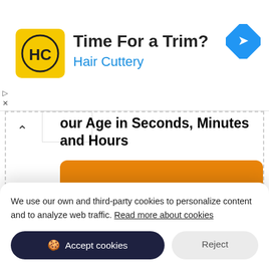[Figure (screenshot): Hair Cuttery advertisement banner with yellow logo showing HC letters, headline 'Time For a Trim?' and brand name 'Hair Cuttery' in blue, with a navigation/directions icon on the right]
our Age in Seconds, Minutes and Hours
363,830,403 Seconds
We use our own and third-party cookies to personalize content and to analyze web traffic. Read more about cookies
Accept cookies
Reject